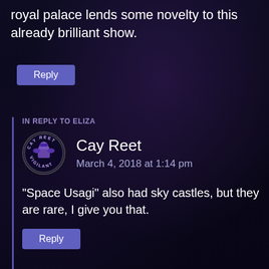royal palace lends some novelty to this already brilliant show.
Reply
IN REPLY TO ELIZA
Cay Reet
March 4, 2018 at 1:14 pm
“Space Usagi” also had sky castles, but they are rare, I give you that.
Reply